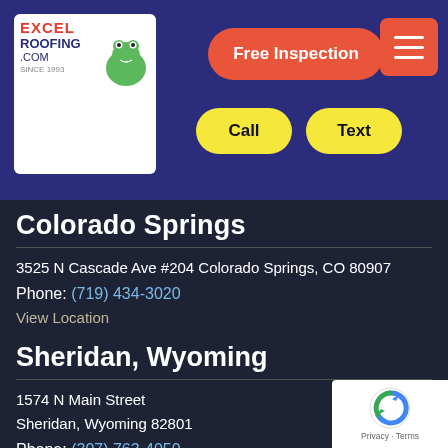[Figure (screenshot): Excel Roofing logo with frog mascot on white background]
Free Inspection
Call
Text
Colorado Springs
3525 N Cascade Ave #204 Colorado Springs, CO 80907
Phone: (719) 434-3020
View Location
Sheridan, Wyoming
1574 N Main Street
Sheridan, Wyoming 82801
Phone: (307) 763-4050